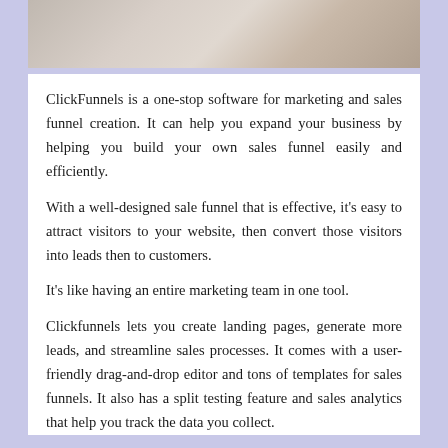[Figure (photo): Partial photo of a person, cropped at the top of the page, showing light background and partial figure]
ClickFunnels is a one-stop software for marketing and sales funnel creation. It can help you expand your business by helping you build your own sales funnel easily and efficiently.
With a well-designed sale funnel that is effective, it's easy to attract visitors to your website, then convert those visitors into leads then to customers.
It's like having an entire marketing team in one tool.
Clickfunnels lets you create landing pages, generate more leads, and streamline sales processes. It comes with a user-friendly drag-and-drop editor and tons of templates for sales funnels. It also has a split testing feature and sales analytics that help you track the data you collect.